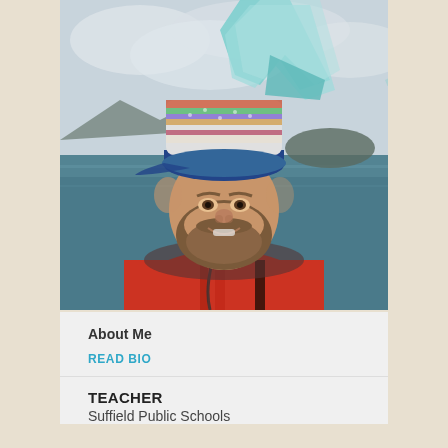[Figure (photo): A bearded man wearing a colorful knit hat and a red jacket, smiling outdoors near water with a blue-green iceberg visible in the background. Mountains and islands are visible in the distance under a cloudy sky.]
About Me
READ BIO
TEACHER
Suffield Public Schools